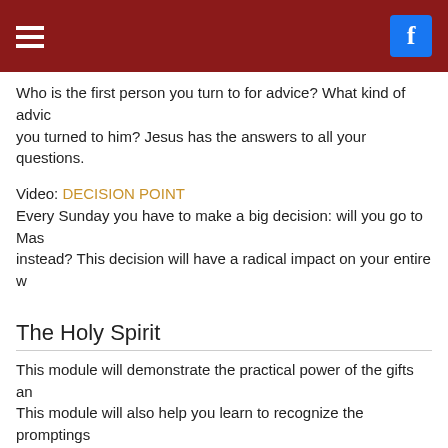Who is the first person you turn to for advice? What kind of advice would you get if you turned to him? Jesus has the answers to all your questions.
Video: DECISION POINT
Every Sunday you have to make a big decision: will you go to Mass or do something else instead? This decision will have a radical impact on your entire w…
The Holy Spirit
This module will demonstrate the practical power of the gifts and fruits of the Holy Spirit. This module will also help you learn to recognize the promptings of the Holy Spirit and allow the Holy Spirit to guide you in your decisions.
Sesson Video Page: https://dynamiccatholic.com/confirmation/
Lesson Modules and Videos Include:
Video: Intro: The Next Right Thing
Throughout your life there will be many voices encouraging you to do different things. Whom will you listen to? Let the Holy Spirit be your guide.